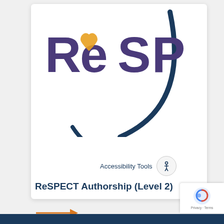[Figure (logo): ReSPECT logo in purple bold letters with a heart shape replacing the 'e', and a dark navy curved swoosh/arc underneath. The word ReSPECT is styled with a playful font — lowercase 'e' inside a heart shape in orange/gold color.]
Accessibility Tools
ReSPECT Authorship (Level 2)
[Figure (illustration): Orange arrow pointing right]